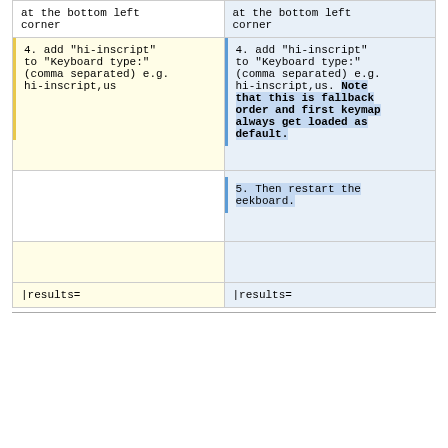| at the bottom left
corner | at the bottom left
corner |
| 4. add "hi-inscript"
to "Keyboard type:"
(comma separated) e.g.
hi-inscript,us | 4. add "hi-inscript"
to "Keyboard type:"
(comma separated) e.g.
hi-inscript,us. Note that this is fallback order and first keymap always get loaded as default. |
|  | 5. Then restart the
eekboard. |
| |results= | |results= |